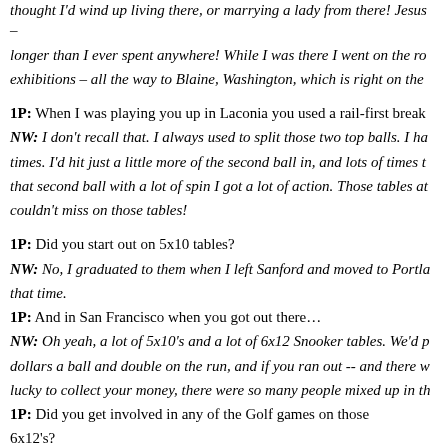thought I'd wind up living there, or marrying a lady from there! Jesus – longer than I ever spent anywhere! While I was there I went on the ro exhibitions – all the way to Blaine, Washington, which is right on the
1P: When I was playing you up in Laconia you used a rail-first break NW: I don't recall that. I always used to split those two top balls. I ha times. I'd hit just a little more of the second ball in, and lots of times t that second ball with a lot of spin I got a lot of action. Those tables at couldn't miss on those tables!
1P: Did you start out on 5x10 tables?
NW: No, I graduated to them when I left Sanford and moved to Portla that time.
1P: And in San Francisco when you got out there…
NW: Oh yeah, a lot of 5x10's and a lot of 6x12 Snooker tables. We'd p dollars a ball and double on the run, and if you ran out -- and there w lucky to collect your money, there were so many people mixed up in th
1P: Did you get involved in any of the Golf games on those 6x12's?
NW: Sure, I played a lot of Golf. I played good Snooker, too. I wound up beating everybody out there except 'The Canadian'. They called him 'The Canadian' because he came down from Canada and was a real top notch Snooker player. But outside of him, nobody could beat me on a 6x12 – including Ronnie .
1P: So One Pocket never really developed into your favorite